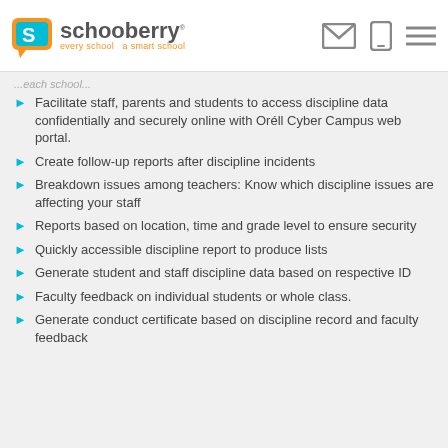schooberry — every school a smart school
Facilitate staff, parents and students to access discipline data confidentially and securely online with Oréll Cyber Campus web portal.
Create follow-up reports after discipline incidents
Breakdown issues among teachers: Know which discipline issues are affecting your staff
Reports based on location, time and grade level to ensure security
Quickly accessible discipline report to produce lists
Generate student and staff discipline data based on respective ID
Faculty feedback on individual students or whole class.
Generate conduct certificate based on discipline record and faculty feedback